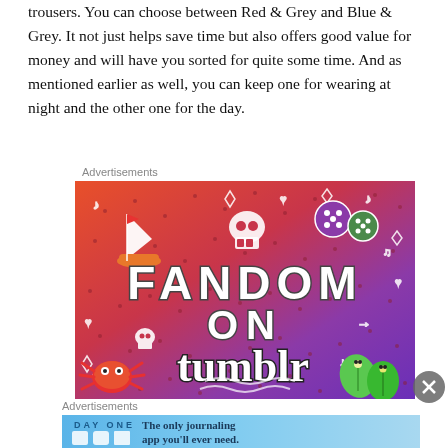trousers. You can choose between Red & Grey and Blue & Grey. It not just helps save time but also offers good value for money and will have you sorted for quite some time. And as mentioned earlier as well, you can keep one for wearing at night and the other one for the day.
Advertisements
[Figure (illustration): Fandom on Tumblr advertisement banner with colorful gradient background (orange to purple), white illustrated doodles including a sailboat, skull, dice, music notes, hearts, and large bold text reading 'FANDOM ON tumblr']
Advertisements
[Figure (illustration): Day One journaling app advertisement banner showing app icons and text 'The only journaling app you'll ever need.']